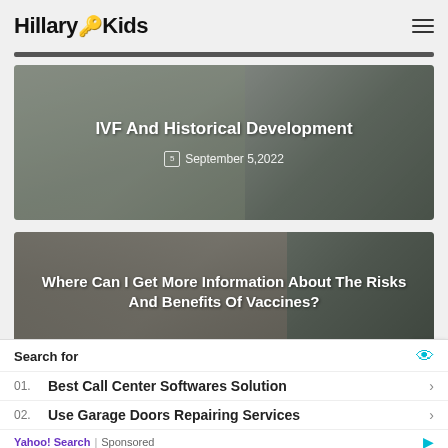HillaryKids
[Figure (photo): Blog card with baby/child photo overlay. Title: IVF And Historical Development. Date: September 5, 2022]
IVF And Historical Development
September 5, 2022
[Figure (photo): Blog card with two people photo overlay. Title: Where Can I Get More Information About The Risks And Benefits Of Vaccines?]
Where Can I Get More Information About The Risks And Benefits Of Vaccines?
Search for
01. Best Call Center Softwares Solution
02. Use Garage Doors Repairing Services
Yahoo! Search | Sponsored